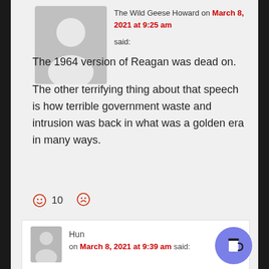[Figure (illustration): User avatar silhouette placeholder image, grey background]
The Wild Geese Howard on March 8, 2021 at 9:25 am said:
The 1964 version of Reagan was dead on.
The other terrifying thing about that speech is how terrible government waste and intrusion was back in what was a golden era in many ways.
☺ 10 ☹
[Figure (illustration): Smaller user avatar silhouette placeholder]
Hun on March 8, 2021 at 9:39 am said:
Despite the wastefulness, US debt has been decreasing from the wartime highs of